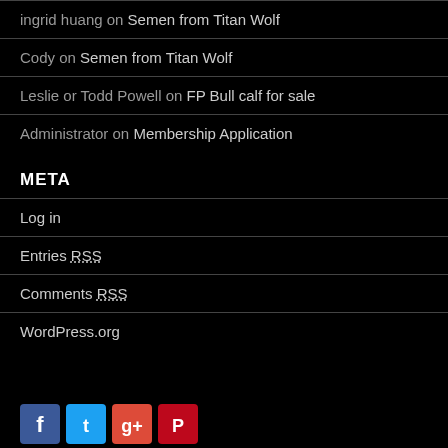ingrid huang on Semen from Titan Wolf
Cody on Semen from Titan Wolf
Leslie or Todd Powell on FP Bull calf for sale
Administrator on Membership Application
META
Log in
Entries RSS
Comments RSS
WordPress.org
[Figure (other): Social media icons: Facebook, Twitter, Google+, Pinterest]